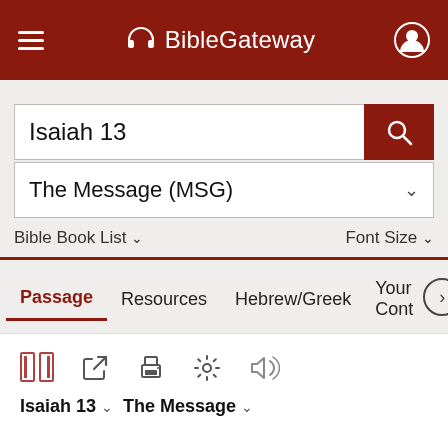BibleGateway
Isaiah 13
The Message (MSG)
Bible Book List  Font Size
Passage  Resources  Hebrew/Greek  Your Cont
Isaiah 13  The Message